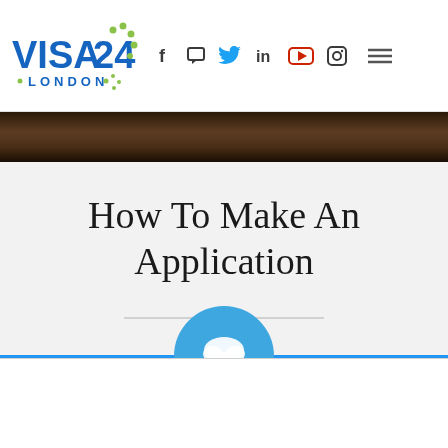[Figure (logo): Visa24 London logo — blue VISA24 text with green dots pattern, LONDON subtext]
[Figure (infographic): Social media icons: Facebook, Chat, Twitter, LinkedIn, YouTube, Instagram, and hamburger menu]
[Figure (photo): Dark wood texture banner strip]
How To Make An Application
[Figure (infographic): Horizontal divider with small icon in center]
[Figure (infographic): Blue horizontal line with cloud download icon circle in center, and white area below]